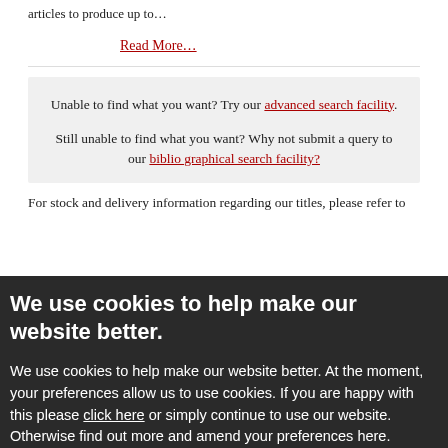articles to produce up to…
Read More…
Unable to find what you want? Try our advanced search facility.
Still unable to find what you want? Why not submit a query to our bibliographical search facility?
For stock and delivery information regarding our titles, please refer to
We use cookies to help make our website better.
We use cookies to help make our website better. At the moment, your preferences allow us to use cookies. If you are happy with this please click here or simply continue to use our website. Otherwise find out more and amend your preferences here.